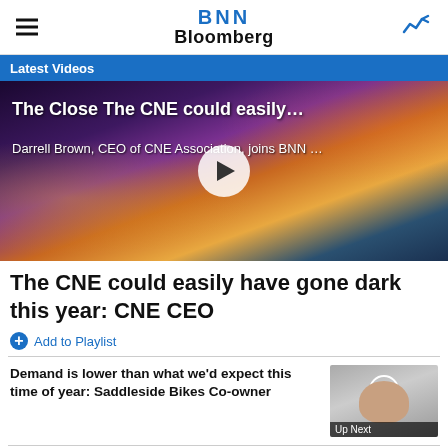BNN Bloomberg
Latest Videos
[Figure (screenshot): Video thumbnail showing CNE fair scene at night with play button overlay. Overlay text: 'The Close The CNE could easily…' and 'Darrell Brown, CEO of CNE Association, joins BNN …']
The CNE could easily have gone dark this year: CNE CEO
Add to Playlist
Demand is lower than what we'd expect this time of year: Saddleside Bikes Co-owner
[Figure (screenshot): Small video thumbnail with Up Next label, showing a person]
U.S. recalls and product shortages...